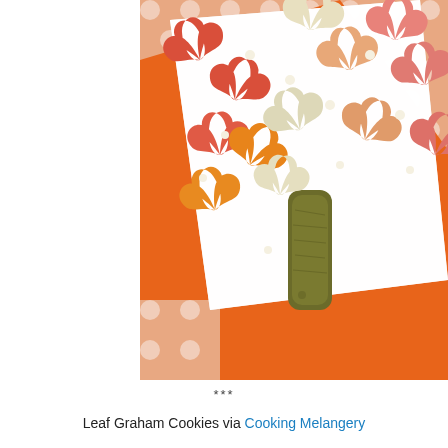[Figure (photo): Leaf-shaped graham cookies in orange, red, cream/white, and peach colors arranged on a white rectangular plate, with a brown log-shaped cookie in the center as a tree trunk. The plate sits on an orange background with a polka-dot patterned fabric underneath.]
***
Leaf Graham Cookies via Cooking Melangery